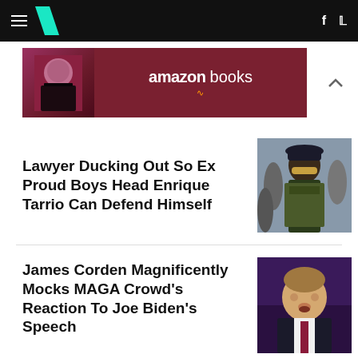HuffPost navigation with hamburger menu, logo, Facebook and Twitter icons
[Figure (photo): Amazon Books advertisement banner with person reading a book and Amazon Books logo on dark red background]
Lawyer Ducking Out So Ex Proud Boys Head Enrique Tarrio Can Defend Himself
[Figure (photo): Photo of Enrique Tarrio wearing tactical vest and sunglasses in a crowd]
James Corden Magnificently Mocks MAGA Crowd's Reaction To Joe Biden's Speech
[Figure (photo): Photo of James Corden on a talk show set with purple lighting]